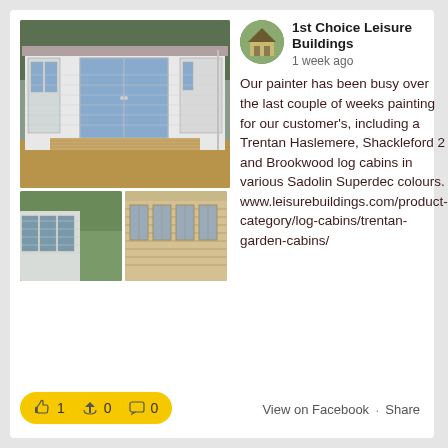[Figure (photo): Top: large photo of a white painted log cabin with double glass doors and wooden decking. Bottom-left: close-up of cabin windows with green garden background. Bottom-right: close-up of tan/unpainted log cabin windows.]
1st Choice Leisure Buildings
1 week ago
Our painter has been busy over the last couple of weeks painting for our customer's, including a Trentan Haslemere, Shackleford 2 and Brookwood log cabins in various Sadolin Superdec colours. www.leisurebuildings.com/product-category/log-cabins/trentan-garden-cabins/
1  0  0
View on Facebook · Share